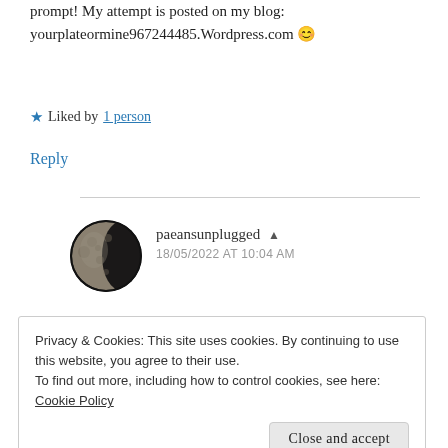prompt! My attempt is posted on my blog: yourplateormine967244485.Wordpress.com 😊
★ Liked by 1 person
Reply
[Figure (photo): Circular avatar image of a moon (crescent/partial moon photo)]
paeansunplugged ▲
18/05/2022 AT 10:04 AM
Privacy & Cookies: This site uses cookies. By continuing to use this website, you agree to their use.
To find out more, including how to control cookies, see here:
Cookie Policy
Close and accept